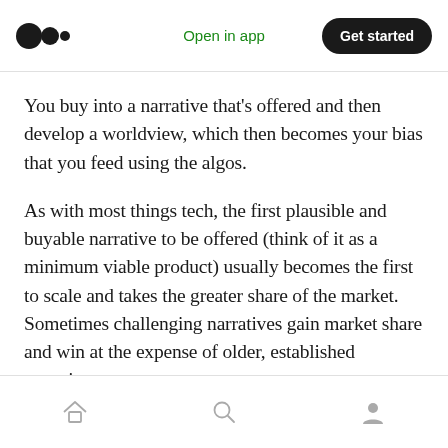Open in app | Get started
You buy into a narrative that’s offered and then develop a worldview, which then becomes your bias that you feed using the algos.
As with most things tech, the first plausible and buyable narrative to be offered (think of it as a minimum viable product) usually becomes the first to scale and takes the greater share of the market. Sometimes challenging narratives gain market share and win at the expense of older, established narratives.
Home | Search | Profile